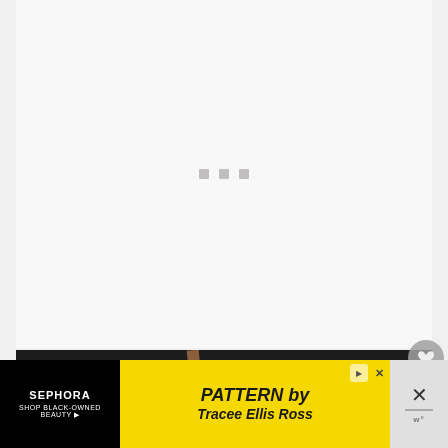[Figure (screenshot): White/light gray content card area with three small gray loading indicator squares in the center, suggesting content is loading]
[Figure (photo): Partial product photo showing a black fabric item with colorful geometric pattern (diamonds, leaf shapes in yellow, blue, white, pink) and a brown leather strap]
[Figure (other): Social action buttons: heart/favorite button (gray circle) with count 113, and share button (gray circle with share icon)]
[Figure (other): Advertisement banner: Sephora ad on left (black background) reading 'SEPHORA / SHOP BLACK-OWNED BEAUTY' and yellow section with 'PATTERN by Tracee Ellis Ross' italic text, with close/skip controls]